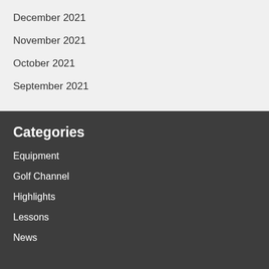December 2021
November 2021
October 2021
September 2021
Categories
Equipment
Golf Channel
Highlights
Lessons
News